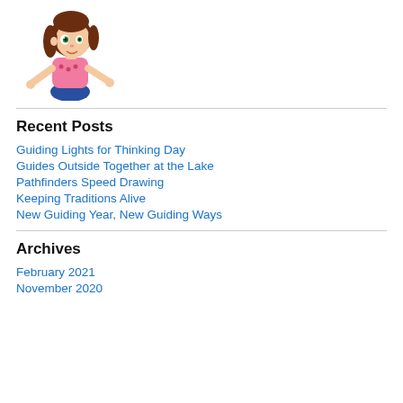[Figure (illustration): Cartoon illustration of a young girl with long brown hair wearing a pink top and blue jeans, looking sideways with green eyes, hands outstretched.]
Recent Posts
Guiding Lights for Thinking Day
Guides Outside Together at the Lake
Pathfinders Speed Drawing
Keeping Traditions Alive
New Guiding Year, New Guiding Ways
Archives
February 2021
November 2020